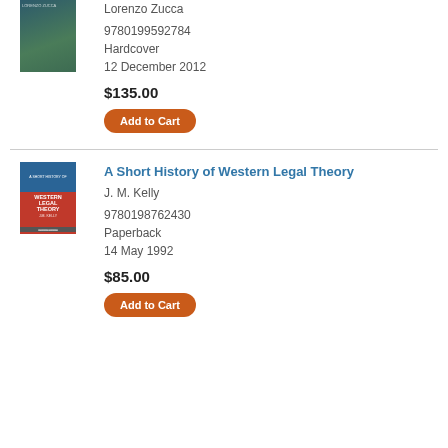[Figure (illustration): Book cover for a title by Lorenzo Zucca, dark teal and olive tones with a figure]
Lorenzo Zucca
9780199592784
Hardcover
12 December 2012
$135.00
Add to Cart
[Figure (illustration): Book cover for A Short History of Western Legal Theory by J.M. Kelly, blue top and red bottom with white text]
A Short History of Western Legal Theory
J. M. Kelly
9780198762430
Paperback
14 May 1992
$85.00
Add to Cart